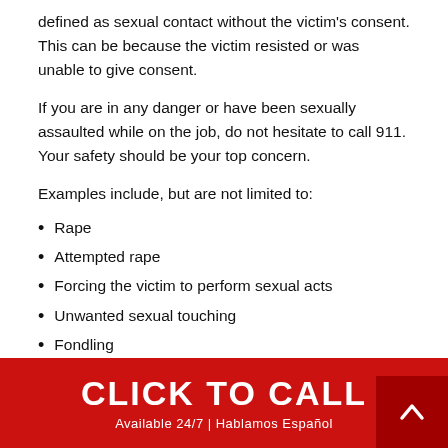defined as sexual contact without the victim's consent. This can be because the victim resisted or was unable to give consent.
If you are in any danger or have been sexually assaulted while on the job, do not hesitate to call 911. Your safety should be your top concern.
Examples include, but are not limited to:
Rape
Attempted rape
Forcing the victim to perform sexual acts
Unwanted sexual touching
Fondling
If the sexual harassment devolved into sexual assault, the
CLICK TO CALL | Available 24/7 | Hablamos Español